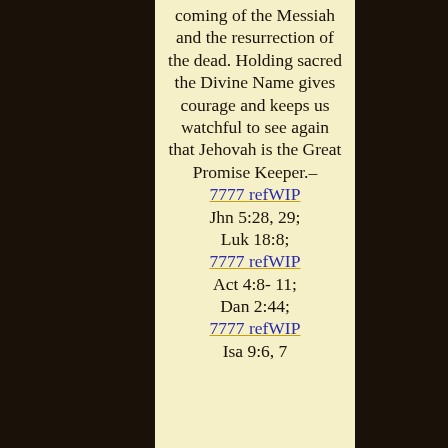coming of the Messiah and the resurrection of the dead. Holding sacred the Divine Name gives courage and keeps us watchful to see again that Jehovah is the Great Promise Keeper.– 7777 refWIP Jhn 5:28, 29; Luk 18:8; 7777 refWIP Act 4:8- 11; Dan 2:44; 7777 refWIP Isa 9:6, 7